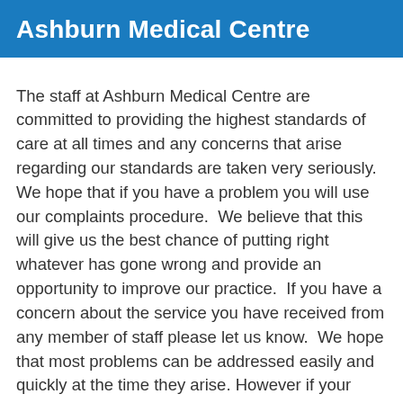Ashburn Medical Centre
The staff at Ashburn Medical Centre are committed to providing the highest standards of care at all times and any concerns that arise regarding our standards are taken very seriously. We hope that if you have a problem you will use our complaints procedure.  We believe that this will give us the best chance of putting right whatever has gone wrong and provide an opportunity to improve our practice.  If you have a concern about the service you have received from any member of staff please let us know.  We hope that most problems can be addressed easily and quickly at the time they arise. However if your concern cannot be addressed in this way and you wish to make a complaint we